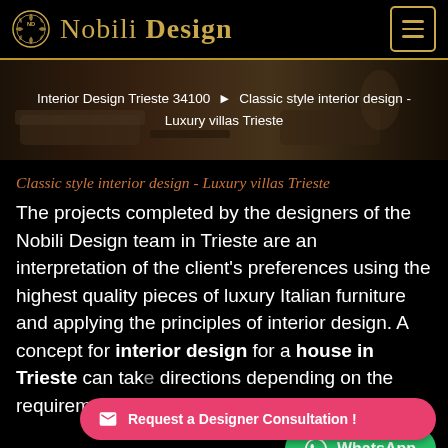Nobili Design
[Figure (photo): Interior design room with luxury furniture, dark warm tones. Breadcrumb navigation overlay: Interior Design Trieste 34100 > Classic style interior design - Luxury villas Trieste]
Classic style interior design - Luxury villas Trieste
The projects completed by the designers of the Nobili Design team in Trieste are an interpretation of the client's preferences using the highest quality pieces of luxury Italian furniture and applying the principles of interior design. A concept for interior design for a house in Trieste can take directions depending on the requirements and personality of t